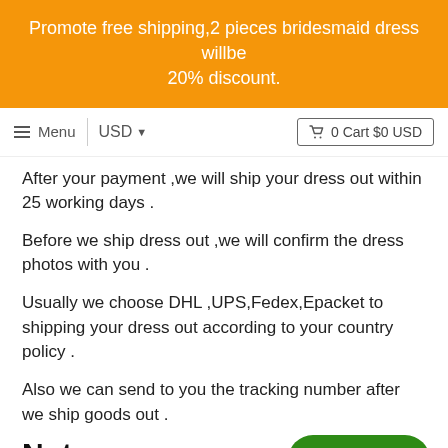Promote free shipping,2 pieces bridesmaid dress willbe 20% discount.
Menu   USD   0 Cart $0 USD
After your payment ,we will ship your dress out within 25 working days .
Before we ship dress out ,we will confirm the dress photos with you .
Usually we choose DHL ,UPS,Fedex,Epacket to shipping your dress out according to your country policy .
Also we can send to you the tracking number after we ship goods out .
Notes:
[Figure (other): Green rounded Chat with us button]